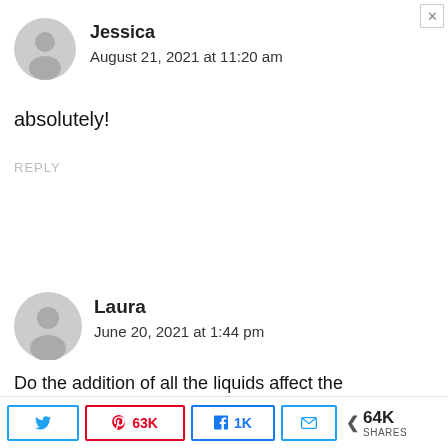Jessica
August 21, 2021 at 11:20 am
absolutely!
REPLY
Laura
June 20, 2021 at 1:44 pm
Do the addition of all the liquids affect the
y  63K  f  1K  ✉  < 64K SHARES